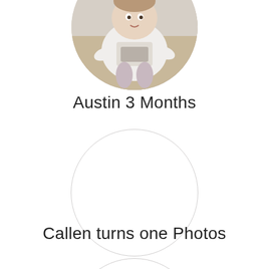[Figure (photo): Circular cropped photo of a baby/toddler lying on the floor wearing a white outfit with graphics, partially visible at the top of the page]
Austin 3 Months
[Figure (other): Empty circle placeholder for a photo album, outlined with a thin light gray border]
Callen turns one Photos
[Figure (other): Partial empty circle placeholder visible at the bottom of the page]